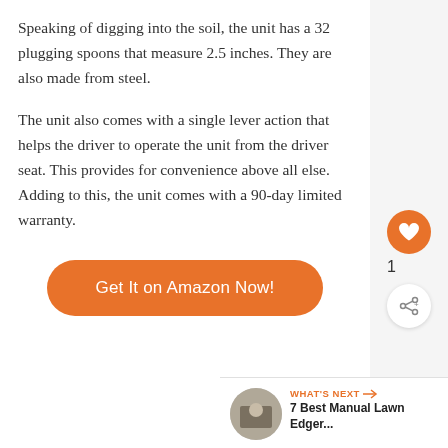Speaking of digging into the soil, the unit has a 32 plugging spoons that measure 2.5 inches. They are also made from steel.
The unit also comes with a single lever action that helps the driver to operate the unit from the driver seat. This provides for convenience above all else. Adding to this, the unit comes with a 90-day limited warranty.
[Figure (other): Orange rounded rectangle button with white text reading 'Get It on Amazon Now!']
[Figure (other): Sidebar with orange heart icon, count '1', and share icon]
[Figure (other): What's Next widget with circular image thumbnail and text '7 Best Manual Lawn Edger...']